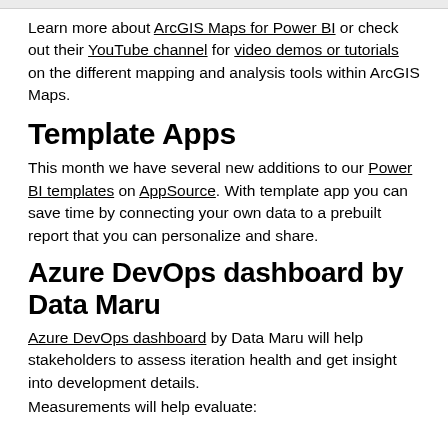Learn more about ArcGIS Maps for Power BI or check out their YouTube channel for video demos or tutorials on the different mapping and analysis tools within ArcGIS Maps.
Template Apps
This month we have several new additions to our Power BI templates on AppSource. With template app you can save time by connecting your own data to a prebuilt report that you can personalize and share.
Azure DevOps dashboard by Data Maru
Azure DevOps dashboard by Data Maru will help stakeholders to assess iteration health and get insight into development details.
Measurements will help evaluate: